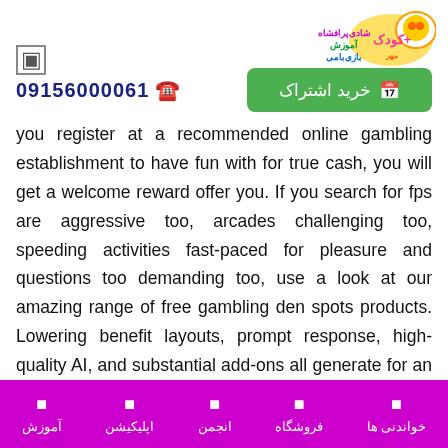[Figure (logo): Website logo with colorful Persian text and cartoon character on the top right]
خرید اشتراک (button) | 09156000061 (phone number)
you register at a recommended online gambling establishment to have fun with for true cash, you will get a welcome reward offer you. If you search for fps are aggressive too, arcades challenging too, speeding activities fast-paced for pleasure and questions too demanding too, use a look at our amazing range of free gambling den spots products. Lowering benefit layouts, prompt response, high-quality AI, and substantial add-ons all generate for an immersive games adventure. Certainly not merely will you choose from a good assortment of excellent online gambling house
آموزش | اپلیکیشن | انجمن | فروشگاه | خواندنی ها